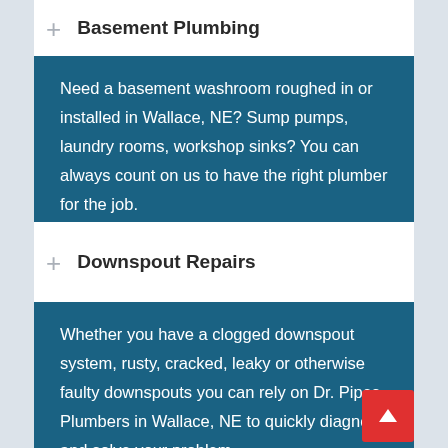Basement Plumbing
Need a basement washroom roughed in or installed in Wallace, NE? Sump pumps, laundry rooms, workshop sinks? You can always count on us to have the right plumber for the job.
Downspout Repairs
Whether you have a clogged downspout system, rusty, cracked, leaky or otherwise faulty downspouts you can rely on Dr. Pipes Plumbers in Wallace, NE to quickly diagnose and solve your problem.